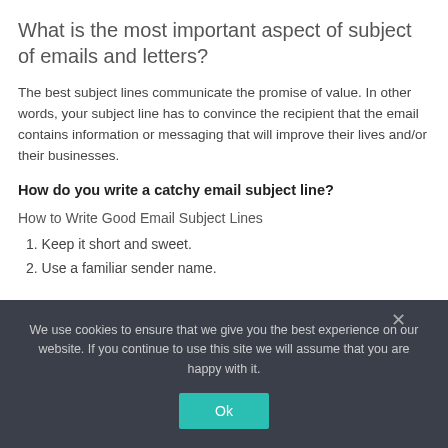What is the most important aspect of subject of emails and letters?
The best subject lines communicate the promise of value. In other words, your subject line has to convince the recipient that the email contains information or messaging that will improve their lives and/or their businesses.
How do you write a catchy email subject line?
How to Write Good Email Subject Lines
1. Keep it short and sweet.
2. Use a familiar sender name.
We use cookies to ensure that we give you the best experience on our website. If you continue to use this site we will assume that you are happy with it.